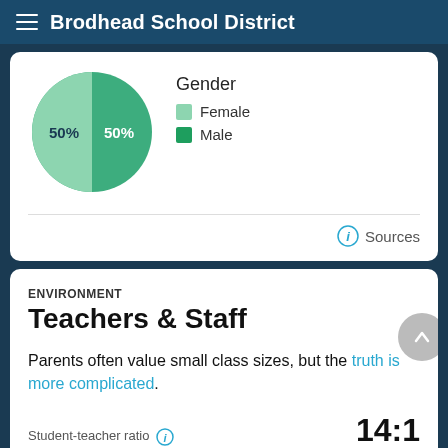Brodhead School District
[Figure (pie-chart): Gender]
Sources
ENVIRONMENT
Teachers & Staff
Parents often value small class sizes, but the truth is more complicated.
14:1